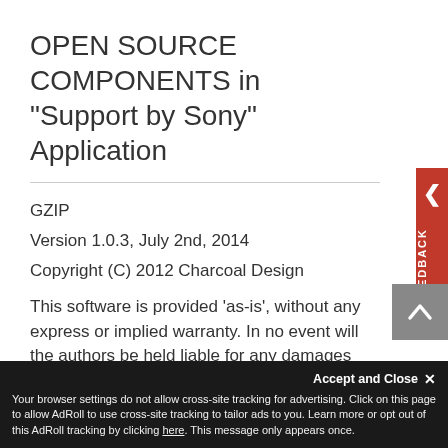OPEN SOURCE COMPONENTS in "Support by Sony" Application
GZIP
Version 1.0.3, July 2nd, 2014
Copyright (C) 2012 Charcoal Design
This software is provided 'as-is', without any express or implied warranty. In no event will the authors be held liable for any damages arising from the use of this software.
Permission is granted to anyone to use this software for any purpose, including commercial applications, and to alter it and redistribute it freely, subject to the following restrictions:
Accept and Close ✕ Your browser settings do not allow cross-site tracking for advertising. Click on this page to allow AdRoll to use cross-site tracking to tailor ads to you. Learn more or opt out of this AdRoll tracking by clicking here. This message only appears once.